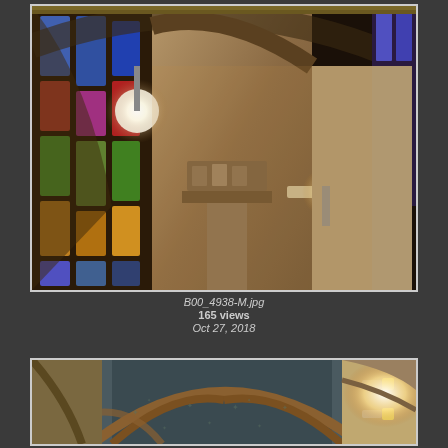[Figure (photo): Interior of a Gothic church or cathedral showing stone columns with ornate capitals, pointed arches, stained glass windows with colorful panels (blue, red, green), and warm lamp lighting illuminating the ancient stonework. The image is taken from a low angle looking up, revealing the vaulted ceiling and decorative mosaic work. A large round pendant light hangs from the ceiling.]
B00_4938-M.jpg
165 views
Oct 27, 2018
[Figure (photo): Interior of a Gothic cathedral showing the vaulted ceiling with ribbed stone arches and decorative painted or mosaic patterns in blue-green with small star motifs. Stone columns and architectural details with warm wall-mounted lamp lighting visible on the right side.]